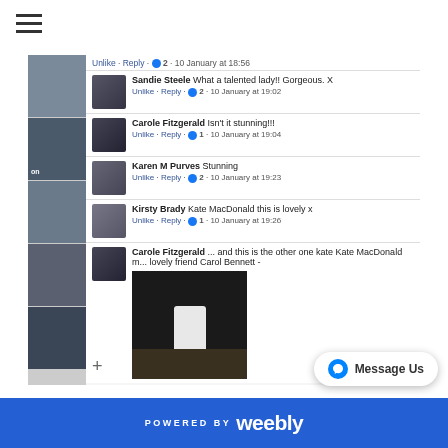[Figure (screenshot): Screenshot of a Facebook post comment section showing multiple user comments with names, likes, and timestamps. A hamburger menu icon appears in the top left. Comments include Sandie Steele, Carole Fitzgerald, Karen M Purves, Kirsty Brady, and Carole Fitzgerald again with a shared photo of a lamp on a desk.]
[Figure (logo): Message Us button with Messenger icon]
POWERED BY weebly